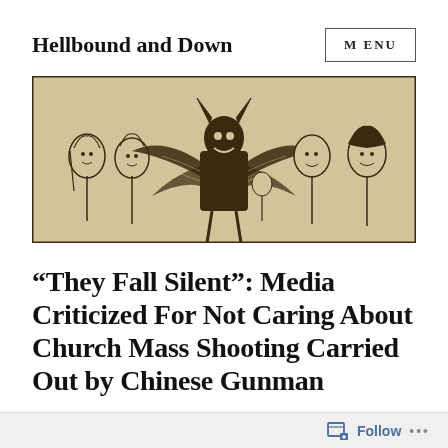Hellbound and Down
[Figure (illustration): A woodcut-style illustration showing a winged devil figure with horns in the center, surrounded by several human figures on both sides, rendered in dark brown/black ink on a cream background.]
“They Fall Silent”: Media Criticized For Not Caring About Church Mass Shooting Carried Out by Chinese Gunman
Follow …